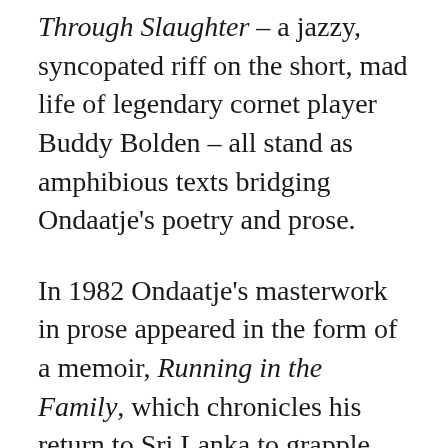Through Slaughter – a jazzy, syncopated riff on the short, mad life of legendary cornet player Buddy Bolden – all stand as amphibious texts bridging Ondaatje's poetry and prose.
In 1982 Ondaatje's masterwork in prose appeared in the form of a memoir, Running in the Family, which chronicles his return to Sri Lanka to grapple with the lives of his parents: his father, Mervyn Ondaatje,